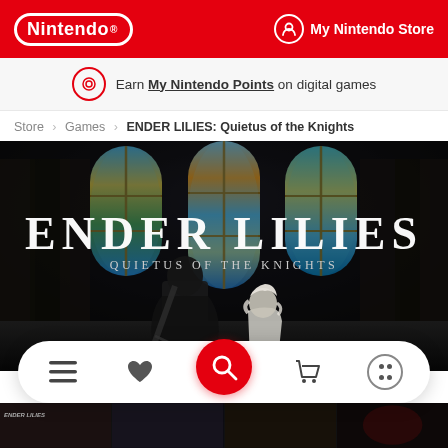Nintendo | My Nintendo Store
Earn My Nintendo Points on digital games
Store > Games > ENDER LILIES: Quietus of the Knights
[Figure (screenshot): ENDER LILIES: Quietus of the Knights game cover art showing two characters (a dark knight and a white-haired girl) in a dark cathedral setting with stained glass windows and the title ENDER LILIES and subtitle QUIETUS OF THE KNIGHTS in white text]
[Figure (screenshot): Bottom navigation bar with hamburger menu, heart/wishlist, red search button, cart, and dots menu icons, and a thumbnail strip at bottom showing game screenshots]